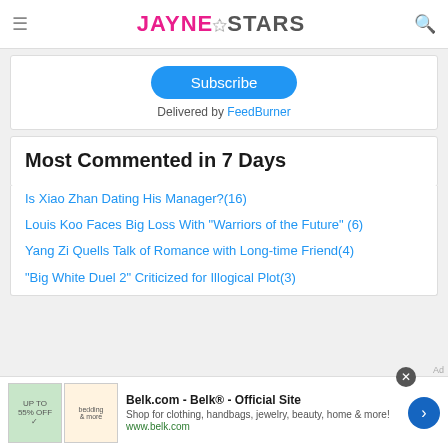JayneStars
Subscribe
Delivered by FeedBurner
Most Commented in 7 Days
Is Xiao Zhan Dating His Manager?(16)
Louis Koo Faces Big Loss With "Warriors of the Future" (6)
Yang Zi Quells Talk of Romance with Long-time Friend(4)
"Big White Duel 2" Criticized for Illogical Plot(3)
Belk.com - Belk® - Official Site
Shop for clothing, handbags, jewelry, beauty, home & more!
www.belk.com